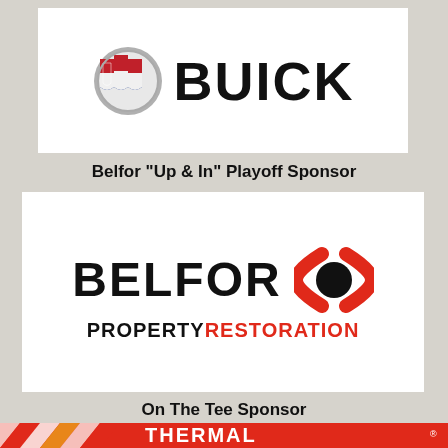[Figure (logo): Buick logo with tri-shield emblem and BUICK wordmark]
Belfor "Up & In" Playoff Sponsor
[Figure (logo): Belfor Property Restoration logo with circular icon in red and black]
On The Tee Sponsor
[Figure (logo): Thermal logo (partially visible at bottom)]